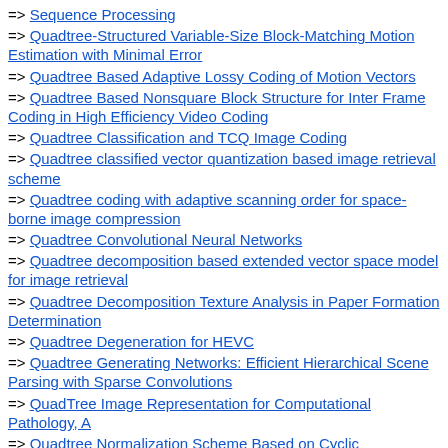=> Sequence Processing
=> Quadtree-Structured Variable-Size Block-Matching Motion Estimation with Minimal Error
=> Quadtree Based Adaptive Lossy Coding of Motion Vectors
=> Quadtree Based Nonsquare Block Structure for Inter Frame Coding in High Efficiency Video Coding
=> Quadtree Classification and TCQ Image Coding
=> Quadtree classified vector quantization based image retrieval scheme
=> Quadtree coding with adaptive scanning order for space-borne image compression
=> Quadtree Convolutional Neural Networks
=> Quadtree decomposition based extended vector space model for image retrieval
=> Quadtree Decomposition Texture Analysis in Paper Formation Determination
=> Quadtree Degeneration for HEVC
=> Quadtree Generating Networks: Efficient Hierarchical Scene Parsing with Sparse Convolutions
=> QuadTree Image Representation for Computational Pathology, A
=> Quadtree Normalization Scheme Based on Cyclic Translations, A
=> Quadtree representations for storage and manipulation of